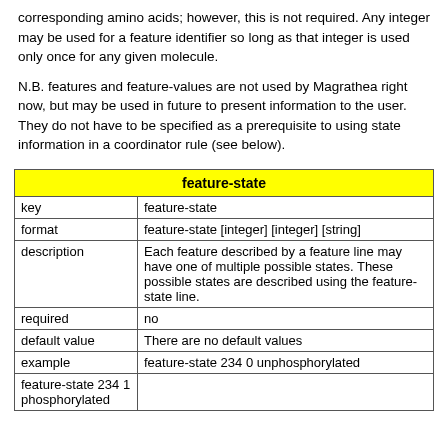corresponding amino acids; however, this is not required. Any integer may be used for a feature identifier so long as that integer is used only once for any given molecule.
N.B. features and feature-values are not used by Magrathea right now, but may be used in future to present information to the user. They do not have to be specified as a prerequisite to using state information in a coordinator rule (see below).
| feature-state |  |
| --- | --- |
| key | feature-state |
| format | feature-state [integer] [integer] [string] |
| description | Each feature described by a feature line may have one of multiple possible states. These possible states are described using the feature-state line. |
| required | no |
| default value | There are no default values |
| example | feature-state 234 0 unphosphorylated |
| feature-state 234 1
phosphorylated |  |